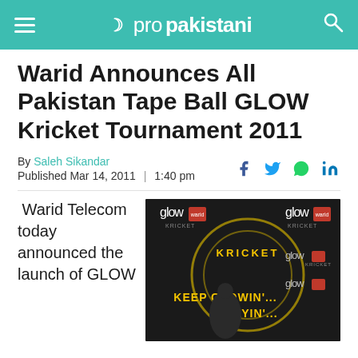ProPakistani
Warid Announces All Pakistan Tape Ball GLOW Kricket Tournament 2011
By Saleh Sikandar
Published Mar 14, 2011 | 1:40 pm
[Figure (photo): Event backdrop showing GLOW Kricket branding with a person standing in front. Text on backdrop reads 'glow KRICKET KEEP GLOWIN' PLAYIN'']
Warid Telecom today announced the launch of GLOW